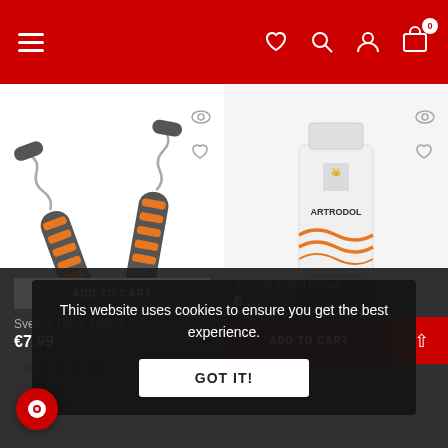Navigation header with hamburger menu, heart, search, account, and cart icons
[Figure (photo): Sveltus hand trainer / grip strengthener product image showing two grip trainers]
[Figure (photo): Artrodol cream tube product image]
Sveltus Hand Trainer
€7.99
This website uses cookies to ensure you get the best experience.
GOT IT!